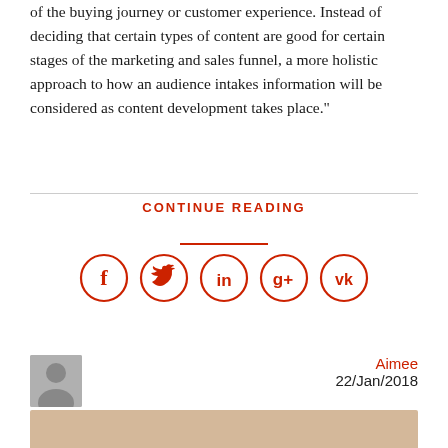of the buying journey or customer experience. Instead of deciding that certain types of content are good for certain stages of the marketing and sales funnel, a more holistic approach to how an audience intakes information will be considered as content development takes place."
CONTINUE READING
[Figure (infographic): Five social media share icons in red circle outlines: Facebook (f), Twitter (bird), LinkedIn (in), Google+ (g+), VK (VK)]
[Figure (photo): Author avatar placeholder - grey silhouette icon]
Aimee
22/Jan/2018
[Figure (photo): Bottom partial image, beige/tan tones, cropped]